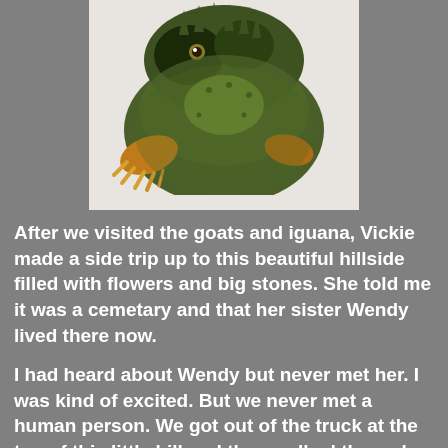[Figure (photo): Close-up photograph of a green iguana resting on a white surface, showing its scaly skin, dorsal spines, and orange/yellow clawed feet. The iguana is viewed from the front/side.]
After we visited the goats and iguana, Vickie made a side trip up to this beautiful hillside filled with flowers and big stones. She told me it was a cemetary and that her sister Wendy lived there now.
I had heard about Wendy but never met her. I was kind of excited. But we never met a human person. We got out of the truck at the top of this little hill and then walked through the stones and flowers to this spot